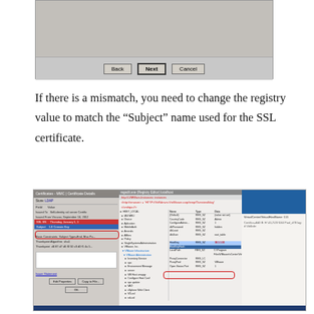[Figure (screenshot): Top portion of a Windows wizard dialog showing Back, Next, and Cancel buttons at the bottom of a gray dialog box.]
If there is a mismatch, you need to change the registry value to match the "Subject" name used for the SSL certificate.
[Figure (screenshot): Windows desktop screenshot showing multiple overlapping windows: a certificate properties dialog on the left, a registry editor in the center with a tree of VMware keys, and a properties/settings panel on the right with blue header. Red circles highlight specific registry entries related to SSL certificate configuration.]